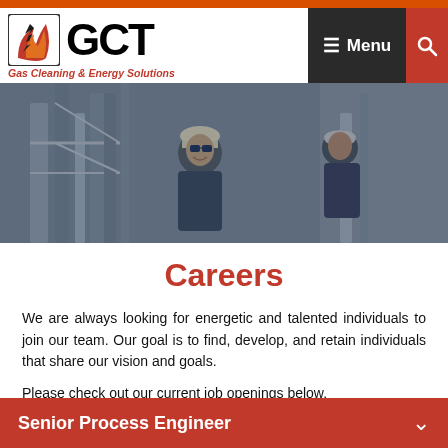[Figure (logo): GCT Gas Cleaning & Energy Solutions logo with flame icon]
[Figure (photo): Industrial facility with workers in hard hats and safety gear standing near pipes and machinery]
Careers
We are always looking for energetic and talented individuals to join our team. Our goal is to find, develop, and retain individuals that share our vision and goals.
Please check out our current job openings below.
Senior Process Engineer